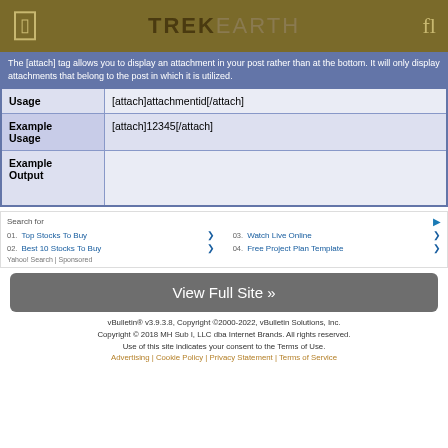TREKEARTH
The [attach] tag allows you to display an attachment in your post rather than at the bottom. It will only display attachments that belong to the post in which it is utilized.
| Usage | [attach]attachmentid[/attach] |
| Example Usage | [attach]12345[/attach] |
| Example Output |  |
[Figure (screenshot): Yahoo Search sponsored ad block with search results for Top Stocks To Buy, Best 10 Stocks To Buy, Watch Live Online, Free Project Plan Template]
View Full Site »
vBulletin® v3.9.3.8, Copyright ©2000-2022, vBulletin Solutions, Inc. Copyright © 2018 MH Sub I, LLC dba Internet Brands. All rights reserved. Use of this site indicates your consent to the Terms of Use. Advertising | Cookie Policy | Privacy Statement | Terms of Service